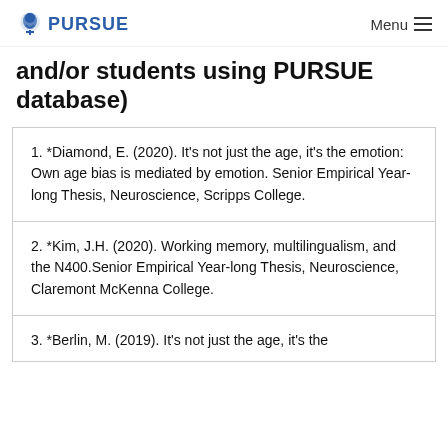PURSUE  Menu
and/or students using PURSUE database)
1. *Diamond, E. (2020). It's not just the age, it's the emotion: Own age bias is mediated by emotion. Senior Empirical Year-long Thesis, Neuroscience, Scripps College.
2. *Kim, J.H. (2020). Working memory, multilingualism, and the N400.Senior Empirical Year-long Thesis, Neuroscience, Claremont McKenna College.
3. *Berlin, M. (2019). It's not just the age, it's the